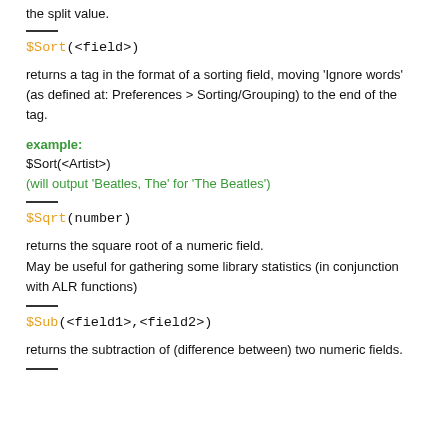the split value.
$Sort(<field>)
returns a tag in the format of a sorting field, moving 'Ignore words' (as defined at: Preferences > Sorting/Grouping) to the end of the tag.
example:
$Sort(<Artist>)
(will output 'Beatles, The' for 'The Beatles')
$Sqrt(number)
returns the square root of a numeric field.
May be useful for gathering some library statistics (in conjunction with ALR functions)
$Sub(<field1>,<field2>)
returns the subtraction of (difference between) two numeric fields.